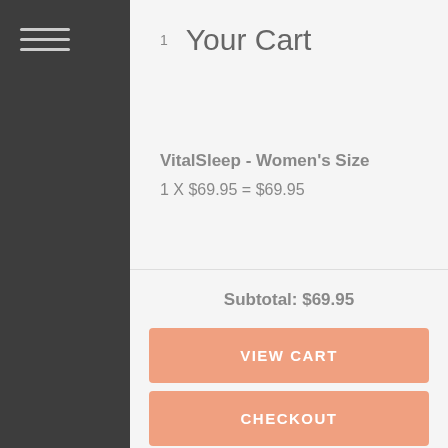[Figure (screenshot): Shopping cart overlay panel on an e-commerce website showing hamburger menu icon on dark sidebar]
1 Your Cart
VitalSleep - Women's Size
1 X $69.95 = $69.95
Subtotal: $69.95
VIEW CART
CHECKOUT